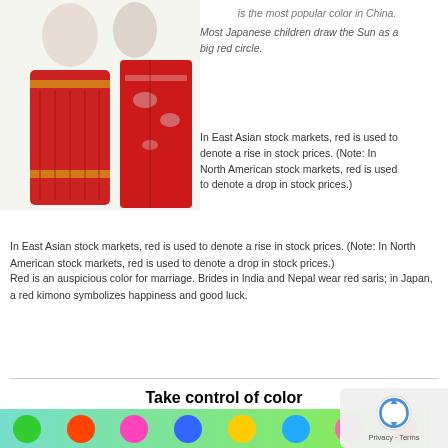[Figure (photo): Two women in red traditional Asian garments — an Indian bride in a red sari and a woman in a red Japanese kimono]
is the most popular color in China.
Most Japanese children draw the Sun as a big red circle.
In East Asian stock markets, red is used to denote a rise in stock prices. (Note: In North American stock markets, red is used to denote a drop in stock prices.)
Red is an auspicious color for marriage. Brides in India and Nepal wear red saris; in Japan, a red kimono symbolizes happiness and good luck.
[Figure (infographic): Take control of color — advertisement banner with colorful dots on green background]